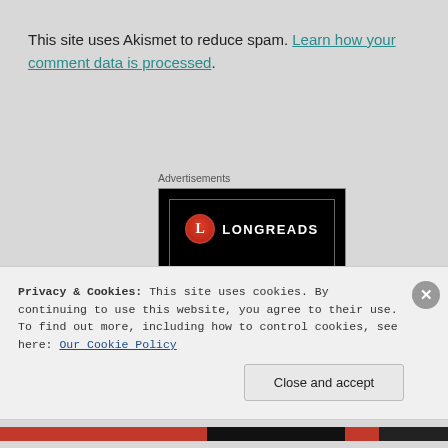This site uses Akismet to reduce spam. Learn how your comment data is processed.
Advertisements
[Figure (logo): Longreads advertisement banner: black background with Longreads logo (red circle with white 'L' and white LONGREADS text)]
Privacy & Cookies: This site uses cookies. By continuing to use this website, you agree to their use.
To find out more, including how to control cookies, see here: Our Cookie Policy
Close and accept